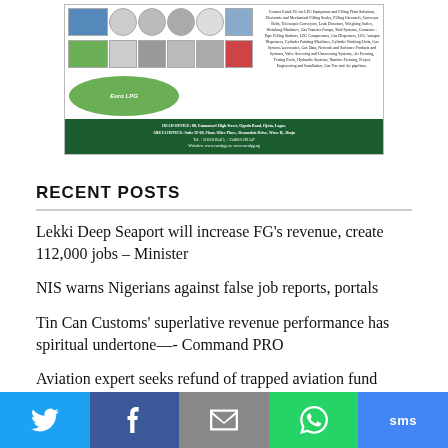[Figure (advertisement): Euro LPG advertisement showing LPG equipment, tanks, and filling plant solutions with green tank image and company contact details including head office in Lagos and Abuja office.]
RECENT POSTS
Lekki Deep Seaport will increase FG’s revenue, create 112,000 jobs – Minister
NIS warns Nigerians against false job reports, portals
Tin Can Customs’ superlative revenue performance has spiritual undertone—- Command PRO
Aviation expert seeks refund of trapped aviation fund
[Figure (infographic): Social sharing bar with Twitter, Facebook, Email, WhatsApp, and SMS buttons]